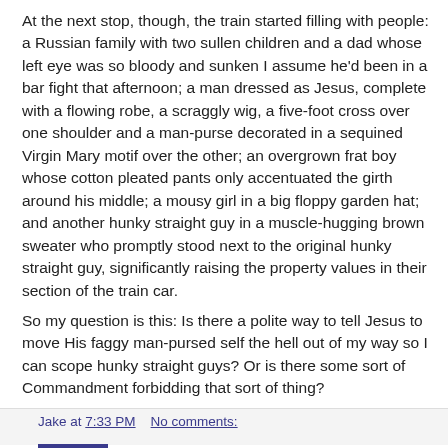At the next stop, though, the train started filling with people: a Russian family with two sullen children and a dad whose left eye was so bloody and sunken I assume he'd been in a bar fight that afternoon; a man dressed as Jesus, complete with a flowing robe, a scraggly wig, a five-foot cross over one shoulder and a man-purse decorated in a sequined Virgin Mary motif over the other; an overgrown frat boy whose cotton pleated pants only accentuated the girth around his middle; a mousy girl in a big floppy garden hat; and another hunky straight guy in a muscle-hugging brown sweater who promptly stood next to the original hunky straight guy, significantly raising the property values in their section of the train car.
So my question is this: Is there a polite way to tell Jesus to move His faggy man-pursed self the hell out of my way so I can scope hunky straight guys? Or is there some sort of Commandment forbidding that sort of thing?
Jake at 7:33 PM    No comments: